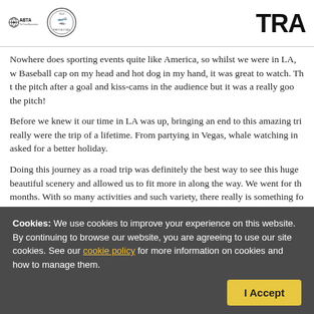[Figure (logo): ABTA The Travel Association logo with globe/compass icon, and a ATOL Protected circular badge]
[Figure (logo): TRA... logo (partial, cropped) in bold black sans-serif font]
Nowhere does sporting events quite like America, so whilst we were in LA, w Baseball cap on my head and hot dog in my hand, it was great to watch. Th t the pitch after a goal and kiss-cams in the audience but it was a really goo the pitch!
Before we knew it our time in LA was up, bringing an end to this amazing tri really were the trip of a lifetime. From partying in Vegas, whale watching in asked for a better holiday.
Doing this journey as a road trip was definitely the best way to see this huge beautiful scenery and allowed us to fit more in along the way. We went for th months. With so many activities and such variety, there really is something fo
Cookies: We use cookies to improve your experience on this website. By continuing to browse our website, you are agreeing to use our site cookies. See our cookie policy for more information on cookies and how to manage them.